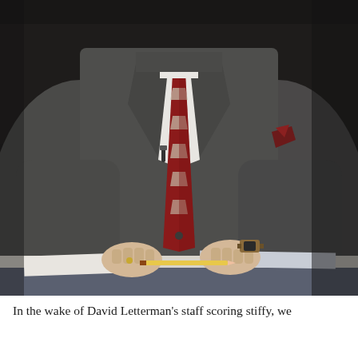[Figure (photo): A man in a dark grey suit with a red and white striped tie and dark red pocket square, sitting behind a desk with papers. His face is not visible (cropped). He holds a pencil in both hands. A microphone is clipped near his lapel. He wears a watch on his right wrist and a ring on his left hand.]
In the wake of David Letterman's staff scoring stiffy, we